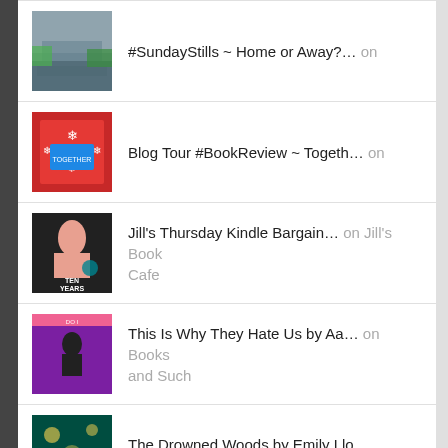#SundayStills ~ Home or Away?… on
Blog Tour #BookReview ~ Togeth… on
Jill's Thursday Kindle Bargain… on Jill's Book Cafe
This Is Why They Hate Us by Aa… on Books and Such
The Drowned Woods by Emily Llo… on Books and Such